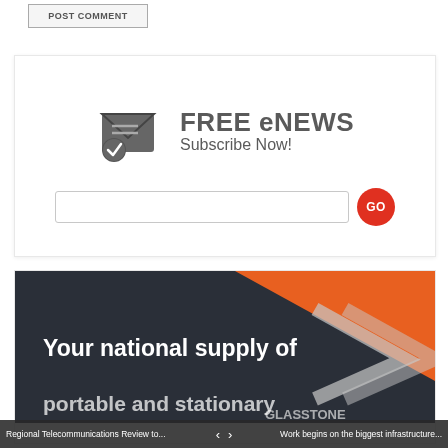POST COMMENT
[Figure (infographic): FREE eNEWS Subscribe Now! banner with envelope icon, input field, and red GO button]
[Figure (infographic): Advertisement banner: Your national supply of portable and stationary, with orange and dark background and Glasstone logo]
Regional Telecommunications Review to...
Work begins on the biggest infrastructure...